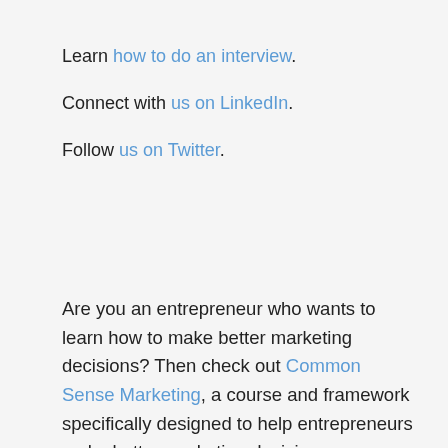Learn how to do an interview.
Connect with us on LinkedIn.
Follow us on Twitter.
Are you an entrepreneur who wants to learn how to make better marketing decisions? Then check out Common Sense Marketing, a course and framework specifically designed to help entrepreneurs make better marketing decisions.